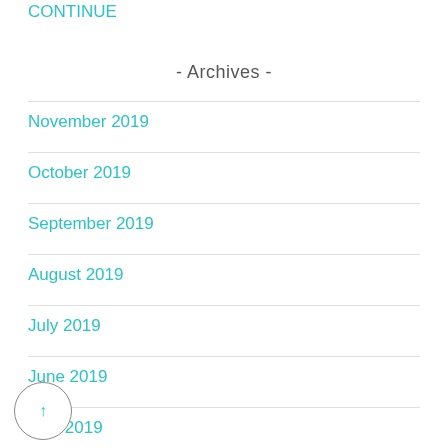CONTINUE
- Archives -
November 2019
October 2019
September 2019
August 2019
July 2019
June 2019
May 2019